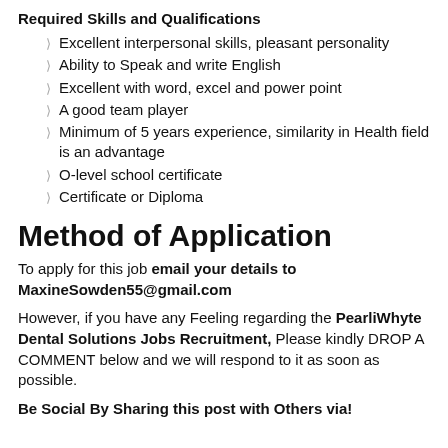Required Skills and Qualifications
Excellent interpersonal skills, pleasant personality
Ability to Speak and write English
Excellent with word, excel and power point
A good team player
Minimum of 5 years experience, similarity in Health field is an advantage
O-level school certificate
Certificate or Diploma
Method of Application
To apply for this job email your details to MaxineSowden55@gmail.com
However, if you have any Feeling regarding the PearliWhyte Dental Solutions Jobs Recruitment, Please kindly DROP A COMMENT below and we will respond to it as soon as possible.
Be Social By Sharing this post with Others via!